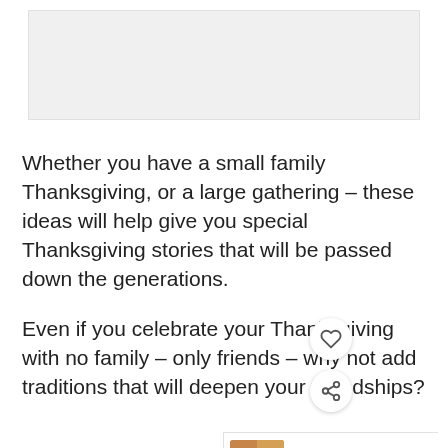[Figure (photo): Top image placeholder, light gray rectangle]
Whether you have a small family Thanksgiving, or a large gathering – these ideas will help give you special Thanksgiving stories that will be passed down the generations.
Even if you celebrate your Thanksgiving with no family – only friends – why not add traditions that will deepen your friendships?
[Figure (infographic): What's Next widget showing '24 Traditional Amish...' with food image thumbnail, heart and share social buttons]